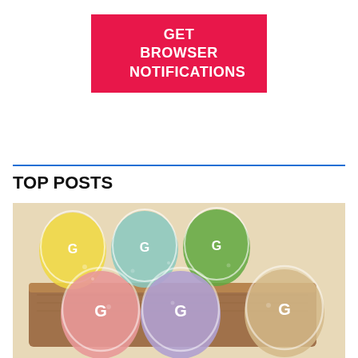[Figure (other): Red button with white bold text reading GET BROWSER NOTIFICATIONS]
TOP POSTS
[Figure (photo): Photo of colorful tea flight glasses with logo on a wooden board, featuring yellow, teal, green, pink, purple, and beige colored drinks]
Golden Fog Coffee Offers Colorful Tea Flights For Pride Month